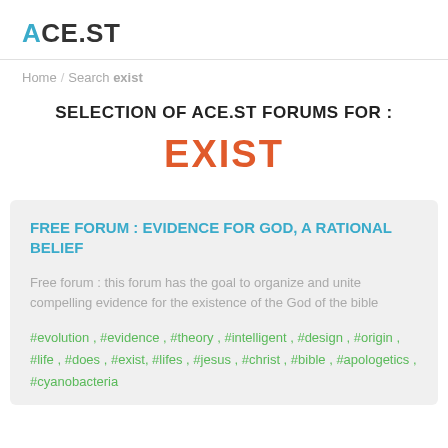ACE.ST
Home / Search exist
SELECTION OF ACE.ST FORUMS FOR :
EXIST
FREE FORUM : EVIDENCE FOR GOD, A RATIONAL BELIEF
Free forum : this forum has the goal to organize and unite compelling evidence for the existence of the God of the bible
#evolution , #evidence , #theory , #intelligent , #design , #origin , #life , #does , #exist, #lifes , #jesus , #christ , #bible , #apologetics , #cyanobacteria